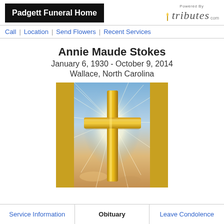Padgett Funeral Home | Powered By tributes
Call | Location | Send Flowers | Recent Services
Annie Maude Stokes
January 6, 1930 - October 9, 2014
Wallace, North Carolina
[Figure (photo): A golden cross against a bright sunlit sky with golden side panels]
Service Information | Obituary | Leave Condolence